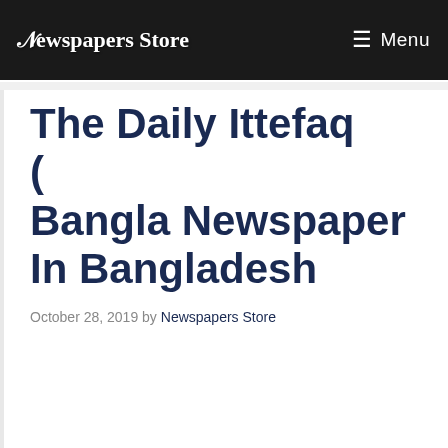Newspapers Store   Menu
The Daily Ittefaq (                    ) Bangla Newspaper In Bangladesh
October 28, 2019 by Newspapers Store